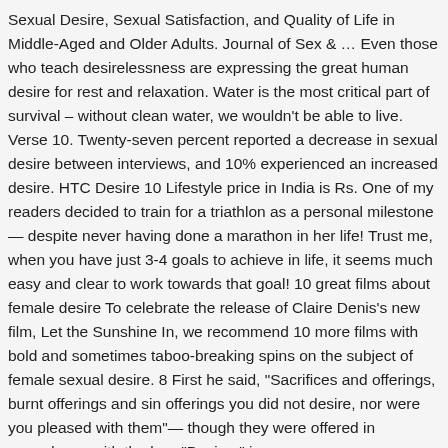Sexual Desire, Sexual Satisfaction, and Quality of Life in Middle-Aged and Older Adults. Journal of Sex & … Even those who teach desirelessness are expressing the great human desire for rest and relaxation. Water is the most critical part of survival – without clean water, we wouldn't be able to live. Verse 10. Twenty-seven percent reported a decrease in sexual desire between interviews, and 10% experienced an increased desire. HTC Desire 10 Lifestyle price in India is Rs. One of my readers decided to train for a triathlon as a personal milestone — despite never having done a marathon in her life! Trust me, when you have just 3-4 goals to achieve in life, it seems much easy and clear to work towards that goal! 10 great films about female desire To celebrate the release of Claire Denis's new film, Let the Sunshine In, we recommend 10 more films with bold and sometimes taboo-breaking spins on the subject of female sexual desire. 8 First he said, "Sacrifices and offerings, burnt offerings and sin offerings you did not desire, nor were you pleased with them"— though they were offered in accordance with the law. "Desires" is